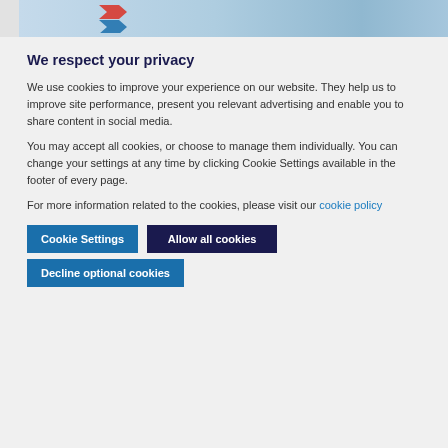[Figure (illustration): Partial website screenshot showing a logo with red and blue chevrons and decorative imagery with blue tones]
We respect your privacy
We use cookies to improve your experience on our website. They help us to improve site performance, present you relevant advertising and enable you to share content in social media.
You may accept all cookies, or choose to manage them individually. You can change your settings at any time by clicking Cookie Settings available in the footer of every page.
For more information related to the cookies, please visit our cookie policy
Cookie Settings
Allow all cookies
Decline optional cookies